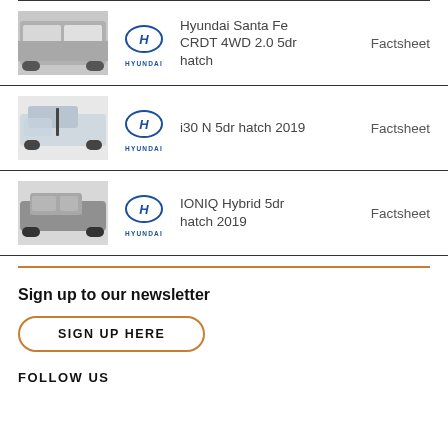Hyundai Santa Fe CRDT 4WD 2.0 5dr hatch — Factsheet
i30 N 5dr hatch 2019 — Factsheet
IONIQ Hybrid 5dr hatch 2019 — Factsheet
Sign up to our newsletter
SIGN UP HERE
FOLLOW US